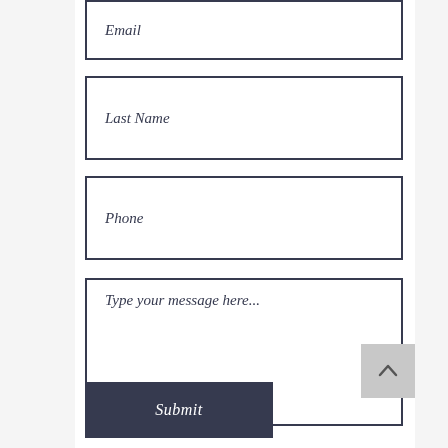Email
Last Name
Phone
Type your message here...
Submit